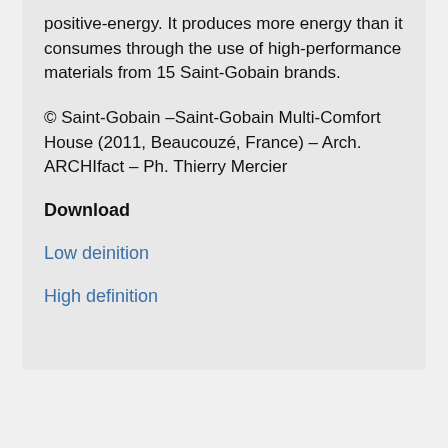positive-energy. It produces more energy than it consumes through the use of high-performance materials from 15 Saint-Gobain brands.
© Saint-Gobain –Saint-Gobain Multi-Comfort House (2011, Beaucouzé, France) – Arch. ARCHIfact – Ph. Thierry Mercier
Download
Low deinition
High definition